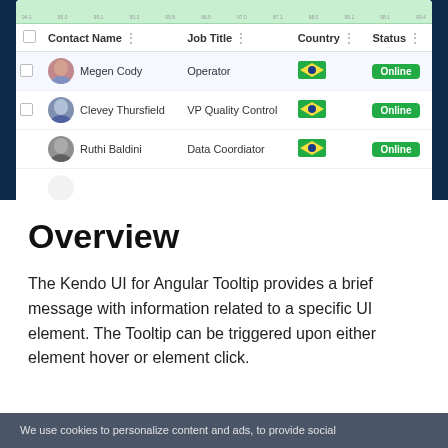[Figure (screenshot): Screenshot of a data grid/table UI showing Contact Name, Job Title, Country, and Status columns with entries for Megen Cody (Operator, Brazil, Online), Clevey Thursfield (VP Quality Control, Brazil, Online), and Ruthi Baldini (Data Coordinator, Brazil, Online). Dark navy background behind the table card.]
Overview
The Kendo UI for Angular Tooltip provides a brief message with information related to a specific UI element. The Tooltip can be triggered upon either element hover or element click.
We use cookies to personalize content and ads, to provide social